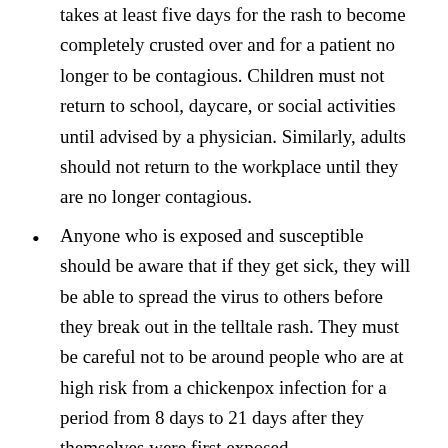patient must be timely, since it usually takes at least five days for the rash to become completely crusted over and for a patient no longer to be contagious. Children must not return to school, daycare, or social activities until advised by a physician. Similarly, adults should not return to the workplace until they are no longer contagious.
Anyone who is exposed and susceptible should be aware that if they get sick, they will be able to spread the virus to others before they break out in the telltale rash. They must be careful not to be around people who are at high risk from a chickenpox infection for a period from 8 days to 21 days after they themselves were first exposed.